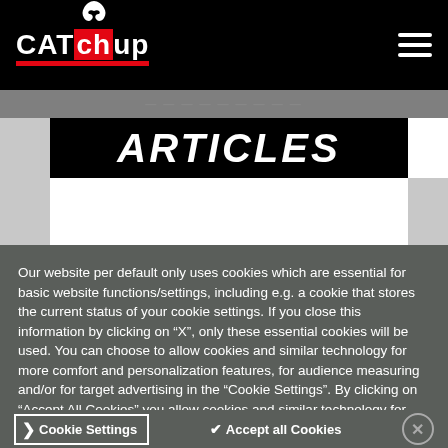[Figure (logo): CATchUp logo with PUMA cat icon on black navigation bar, with hamburger menu icon on the right]
ARTICLES
Our website per default only uses cookies which are essential for basic website functions/settings, including e.g. a cookie that stores the current status of your cookie settings. If you close this information by clicking on “X”, only these essential cookies will be used. You can choose to allow cookies and similar technology for more comfort and personalization features, for audience measuring and/or for target advertising in the “Cookie Settings”. By clicking on “Accept All Cookies” you allow cookies and similar technology for ALL the abovementioned purposes.
Cookie Settings ✔ Accept all Cookies ×